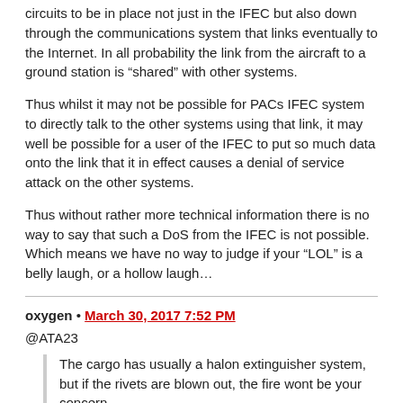circuits to be in place not just in the IFEC but also down through the communications system that links eventually to the Internet. In all probability the link from the aircraft to a ground station is “shared” with other systems.
Thus whilst it may not be possible for PACs IFEC system to directly talk to the other systems using that link, it may well be possible for a user of the IFEC to put so much data onto the link that it in effect causes a denial of service attack on the other systems.
Thus without rather more technical information there is no way to say that such a DoS from the IFEC is not possible. Which means we have no way to judge if your “LOL” is a belly laugh, or a hollow laugh…
oxygen • March 30, 2017 7:52 PM
@ATA23
The cargo has usually a halon extinguisher system, but if the rivets are blown out, the fire wont be your concern…